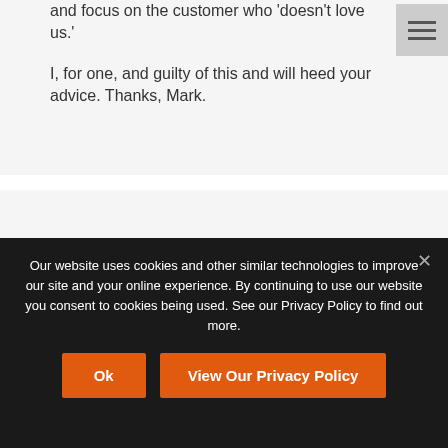and focus on the customer who 'doesn't love us.'

I, for one, and guilty of this and will heed your advice. Thanks, Mark.
[Figure (photo): Circular avatar photo of Charles Plant, a person with blond/brown hair and beard]
Charles Plant
June 2, 2012 at 11:36 am
I think Simon Sinek said it best in his Ted
Our website uses cookies and other similar technologies to improve our site and your online experience. By continuing to use our website you consent to cookies being used. See our Privacy Policy to find out more.